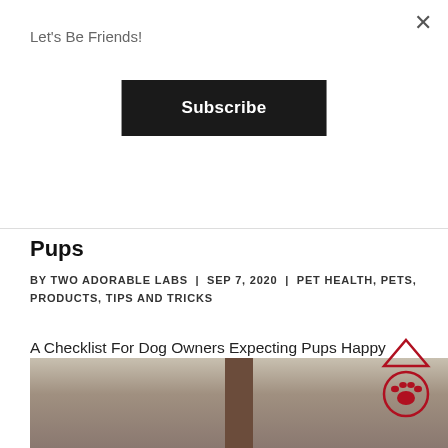Let's Be Friends!
Subscribe
Pups
BY TWO ADORABLE LABS | SEP 7, 2020 | PET HEALTH, PETS, PRODUCTS, TIPS AND TRICKS
A Checklist For Dog Owners Expecting Pups Happy Labor Day everyone!  I recently had a conversation with a dog owner whose female dog is pregnant and expecting puppies very soon.  She wanted to know if there was a supplement to give her dog incase she could not produce...
[Figure (photo): Partial photo of a dog or puppy, with a brown post or pole visible in the center, on a beige/brown background surface.]